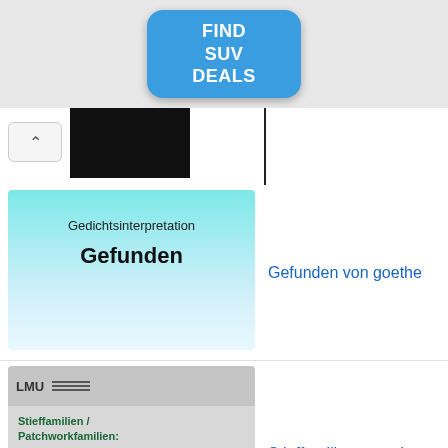[Figure (other): Blue rounded rectangle advertisement button with text FIND SUV DEALS in white bold letters]
[Figure (photo): Dark/black thumbnail image showing hands, partially visible]
[Figure (other): Gedichtsinterpretation card with cyan-to-light-blue gradient background showing title Gefunden]
Gefunden von goethe
[Figure (other): LMU Munich presentation slide thumbnail about Stieffamilien / Patchworkfamilien: Was ist anders? Wie kann's klappen? by Prof. Dr. Sabine Walper, Ludwig-Maximilians-Universität München]
Stieffamilie vor und